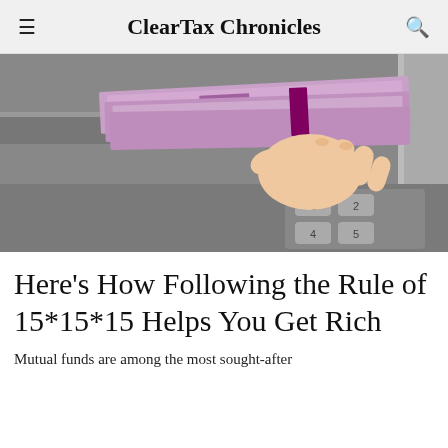ClearTax Chronicles
[Figure (photo): A hand withdrawing Indian rupee banknotes (2000 rupee notes) from an ATM machine, showing the ATM keypad below.]
Here’s How Following the Rule of 15*15*15 Helps You Get Rich
Mutual funds are among the most sought-after